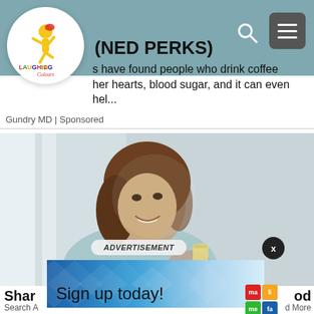[Figure (logo): Laughing Colours website logo — circular white background with a colourful figure and text 'LAUGHING Colours']
(NED PERKS)
s have found people who drink coffee
her hearts, blood sugar, and it can even hel...
Gundry MD | Sponsored
[Figure (photo): Young woman smiling and holding a glass of lemon water/juice, light background]
ADVERTISEMENT
[Figure (screenshot): Blue geometric patterned advertisement overlay with 'Sign up today!' text]
Shar
Sign up today!
[Figure (logo): ma li / me fa coloured logo badges grid]
od
d More
Search A